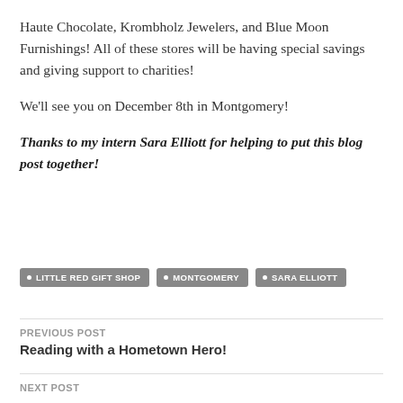Haute Chocolate, Krombholz Jewelers, and Blue Moon Furnishings! All of these stores will be having special savings and giving support to charities!
We'll see you on December 8th in Montgomery!
Thanks to my intern Sara Elliott for helping to put this blog post together!
LITTLE RED GIFT SHOP
MONTGOMERY
SARA ELLIOTT
PREVIOUS POST
Reading with a Hometown Hero!
NEXT POST